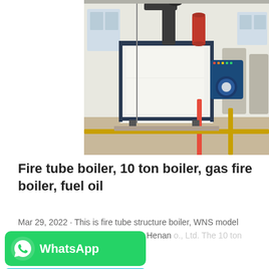[Figure (photo): Industrial fire tube boiler (WNS model) installed in a factory/boiler room. The boiler is large, white and blue in color with a red cylinder on top and a dark gray exhaust duct. A blue burner unit is mounted on the front right side. Yellow piping runs along the floor. The room has white walls, windows, and additional equipment in the background.]
Fire tube boiler, 10 ton boiler, gas fire boiler, fuel oil
Mar 29, 2022 · This is fire tube structure boiler, WNS model gas or fuel oil fired boiler made by Henan o., Ltd. The 10 ton fire tube gas